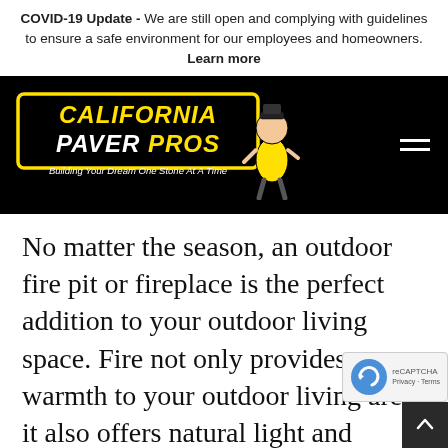COVID-19 Update - We are still open and complying with guidelines to ensure a safe environment for our employees and homeowners. Learn more
[Figure (logo): California Paver Pros logo on black navigation bar with cartoon mascot and hamburger menu icon. Tagline: Building Your Dream One Stone At A Time]
No matter the season, an outdoor fire pit or fireplace is the perfect addition to your outdoor living space. Fire not only provides warmth to your outdoor living area, it also offers natural light and creates an ambiance of relaxation. However, before buying a